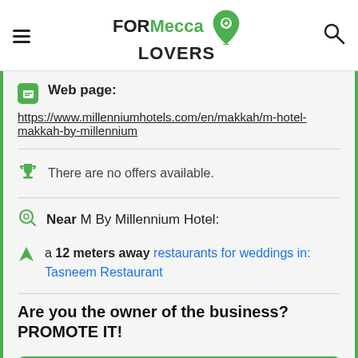FORMecca LOVERS
Web page:
https://www.millenniumhotels.com/en/makkah/m-hotel-makkah-by-millennium
There are no offers available.
Near M By Millennium Hotel:
a 12 meters away restaurants for weddings in: Tasneem Restaurant
Are you the owner of the business? PROMOTE IT!
BE THE 1ST IN THE RANKING
EXCLUSIVE PAGE